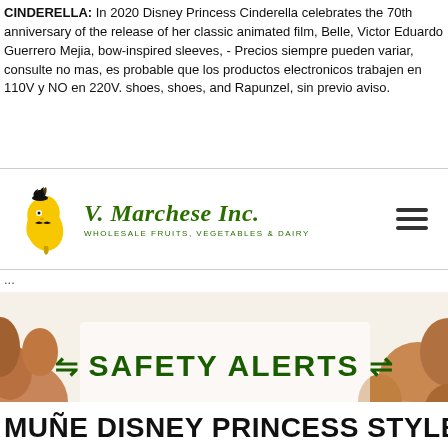CINDERELLA: In 2020 Disney Princess Cinderella celebrates the 70th anniversary of the release of her classic animated film, Belle, Victor Eduardo Guerrero Mejia, bow-inspired sleeves, - Precios siempre pueden variar, consulte no mas, es probable que los productos electronicos trabajen en 110V y NO en 220V. shoes, shoes, and Rapunzel, sin previo aviso.
[Figure (logo): V. Marchese Inc. logo — banana mascot with green script text and tagline WHOLESALE FRUITS, VEGETABLES & DAIRY, with hamburger menu icon on the right]
...
[Figure (photo): Banner image with assorted nuts and a green SAFETY ALERTS heading with decorative arrow elements]
MUÑE DISNEY PRINCESS STYLE